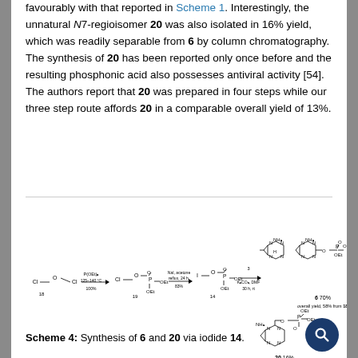favourably with that reported in Scheme 1. Interestingly, the unnatural N7-regioisomer 20 was also isolated in 16% yield, which was readily separable from 6 by column chromatography. The synthesis of 20 has been reported only once before and the resulting phosphonic acid also possesses antiviral activity [54]. The authors report that 20 was prepared in four steps while our three step route affords 20 in a comparable overall yield of 13%.
[Figure (schematic): Scheme 4 reaction diagram showing synthesis of compounds 6 and 20 via iodide 14. Starting from compound 18 (chloro ether), treated with P(OEt)3 at 125-140°C 100% to give compound 19, then NaI, acetone, reflux 24h, 83% to give compound 14, then compound 3, K2CO3, DMF, 30h rt to give compound 6 70% (overall yield 58% from 18) and compound 20 16% (overall yield 13% from 18).]
Scheme 4: Synthesis of 6 and 20 via iodide 14.